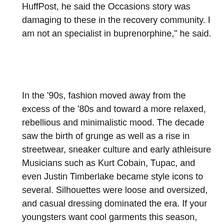HuffPost, he said the Occasions story was damaging to these in the recovery community. I am not an specialist in buprenorphine," he said.
In the '90s, fashion moved away from the excess of the '80s and toward a more relaxed, rebellious and minimalistic mood. The decade saw the birth of grunge as well as a rise in streetwear, sneaker culture and early athleisure Musicians such as Kurt Cobain, Tupac, and even Justin Timberlake became style icons to several. Silhouettes were loose and oversized, and casual dressing dominated the era. If your youngsters want cool garments this season, then you can verify out some of these cool concepts of how to dress them. A single point that is very cool for young boys is graphic t-shirts. Young boys adore shirts that sport their favorites in one thing, such as their preferred Tv show or their favourite soda pop or their preferred characters from a video game or a